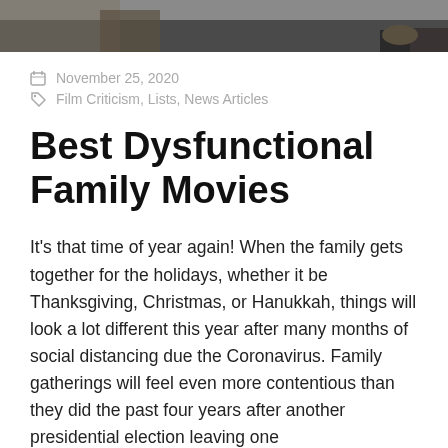[Figure (photo): Cropped photo strip at top of page showing partial figures, appears to be people in a scene, dark tones]
November 25, 2020
Film Criticism, Lists, News Articles
Best Dysfunctional Family Movies
It's that time of year again! When the family gets together for the holidays, whether it be Thanksgiving, Christmas, or Hanukkah, things will look a lot different this year after many months of social distancing due the Coronavirus. Family gatherings will feel even more contentious than they did the past four years after another presidential election leaving one